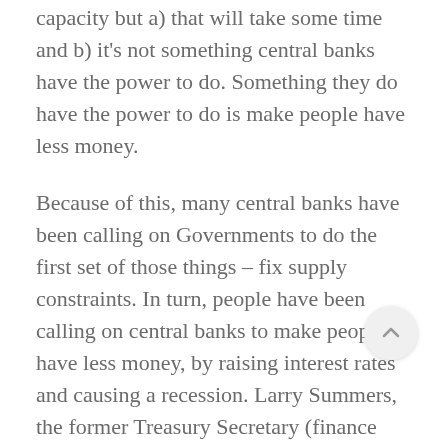capacity but a) that will take some time and b) it's not something central banks have the power to do. Something they do have the power to do is make people have less money.
Because of this, many central banks have been calling on Governments to do the first set of those things – fix supply constraints. In turn, people have been calling on central banks to make people have less money, by raising interest rates and causing a recession. Larry Summers, the former Treasury Secretary (finance minister) in the US, for example, has called for it quite explicitly:
“We need five years of unemployment above 5%